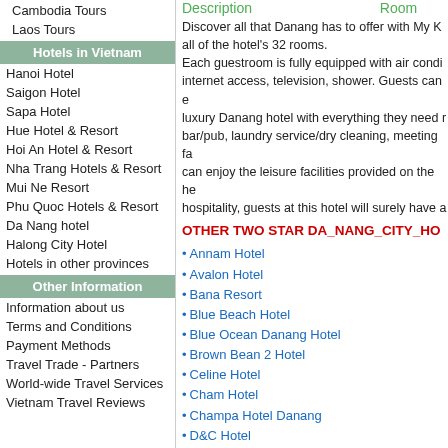Cambodia Tours
Laos Tours
Hotels in Vietnam
Hanoi Hotel
Saigon Hotel
Sapa Hotel
Hue Hotel & Resort
Hoi An Hotel & Resort
Nha Trang Hotels & Resort
Mui Ne Resort
Phu Quoc Hotels & Resort
Da Nang hotel
Halong City Hotel
Hotels in other provinces
Other Information
Information about us
Terms and Conditions
Payment Methods
Travel Trade - Partners
World-wide Travel Services
Vietnam Travel Reviews
Description    Room
Discover all that Danang has to offer with My K all of the hotel's 32 rooms. Each guestroom is fully equipped with air condi internet access, television, shower. Guests can e luxury Danang hotel with everything they need bar/pub, laundry service/dry cleaning, meeting f can enjoy the leisure facilities provided on the h hospitality, guests at this hotel will surely have a
OTHER TWO STAR DA_NANG_CITY_HO
Annam Hotel
Avalon Hotel
Bana Resort
Blue Beach Hotel
Blue Ocean Danang Hotel
Brown Bean 2 Hotel
Celine Hotel
Cham Hotel
Champa Hotel Danang
D&C Hotel
Danasea Hotel
Datraco Hotel
Elegant Hotel
Giany Hotel